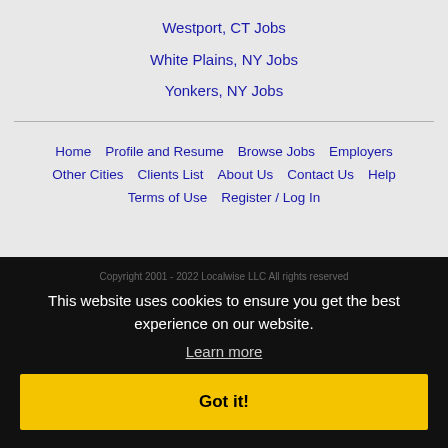Westport, CT Jobs
White Plains, NY Jobs
Yonkers, NY Jobs
Home | Profile and Resume | Browse Jobs | Employers | Other Cities | Clients List | About Us | Contact Us | Help | Terms of Use | Register / Log In
This website uses cookies to ensure you get the best experience on our website.
Learn more
Got it!